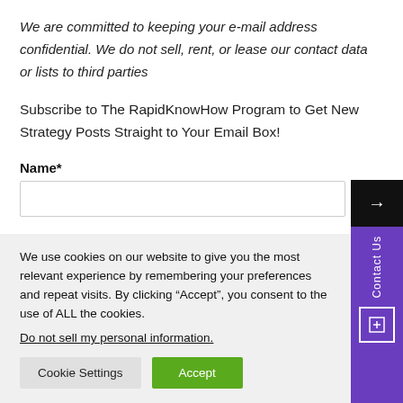We are committed to keeping your e-mail address confidential. We do not sell, rent, or lease our contact data or lists to third parties
Subscribe to The RapidKnowHow Program to Get New Strategy Posts Straight to Your Email Box!
Name*
Contact Us
We use cookies on our website to give you the most relevant experience by remembering your preferences and repeat visits. By clicking “Accept”, you consent to the use of ALL the cookies.
Do not sell my personal information.
Cookie Settings
Accept